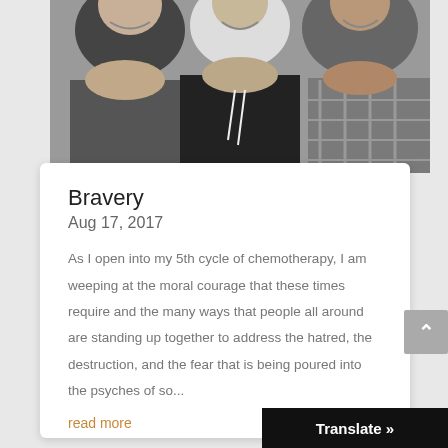[Figure (photo): Black and white photograph of three smiling people posing together for a selfie/close-up photo]
Bravery
Aug 17, 2017
As I open into my 5th cycle of chemotherapy, I am weeping at the moral courage that these times require and the many ways that people all around are standing up together to address the hatred, the destruction, and the fear that is being poured into the psyches of so...
read more